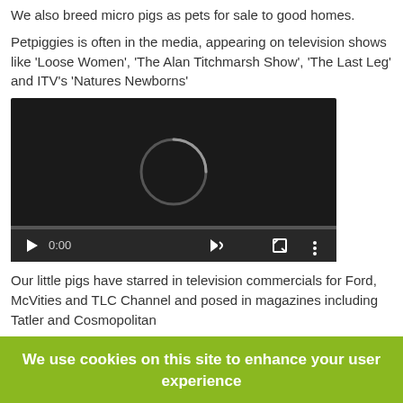We also breed micro pigs as pets for sale to good homes.
Petpiggies is often in the media, appearing on television shows like 'Loose Women', 'The Alan Titchmarsh Show', 'The Last Leg' and ITV's 'Natures Newborns'
[Figure (screenshot): Embedded video player with dark background showing a loading spinner, playback controls showing 0:00 timestamp, volume icon, fullscreen icon and more options icon]
Our little pigs have starred in television commercials for Ford, McVities and TLC Channel and posed in magazines including Tatler and Cosmopolitan
[Figure (photo): Four images in a row: a red/orange pig eating from a bowl, pigs on a blue 'sweet' background with biscuits, a pig on a yellow background, and a woman with a pig]
We use cookies on this site to enhance your user experience